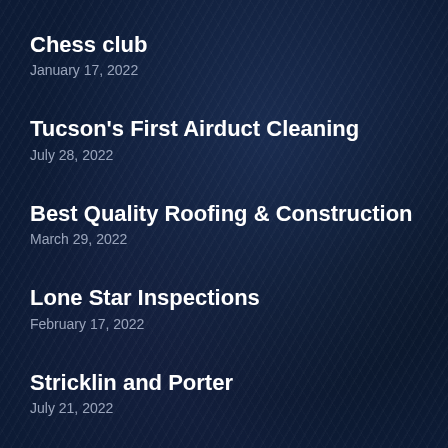Chess club
January 17, 2022
Tucson's First Airduct Cleaning
July 28, 2022
Best Quality Roofing & Construction
March 29, 2022
Lone Star Inspections
February 17, 2022
Stricklin and Porter
July 21, 2022